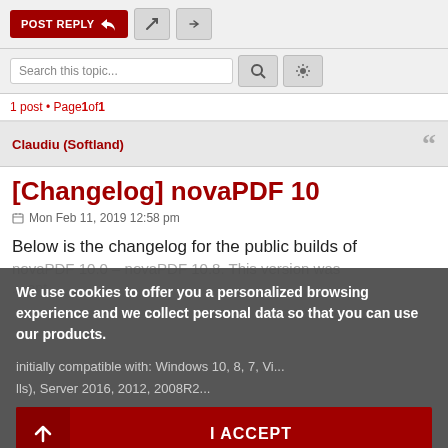POST REPLY
Search this topic...
1 post • Page 1 of 1
Claudiu (Softland)
[Changelog] novaPDF 10
Mon Feb 11, 2019 12:58 pm
Below is the changelog for the public builds of novaPDF 10.0 – novaPDF 10.8. This version was...
We use cookies to offer you a personalized browsing experience and we collect personal data so that you can use our products.
I ACCEPT
READ MORE